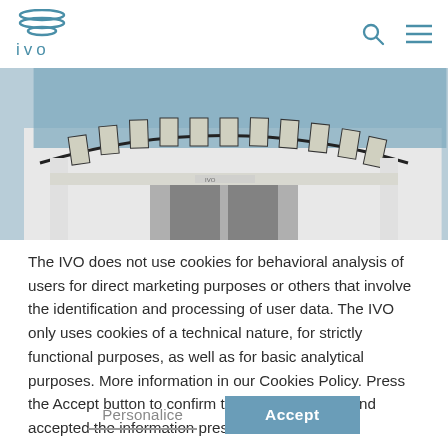IVO
[Figure (photo): Exterior photo of IVO building showing a modern curved glass facade with white structural pillars and a canopy with geometric panels]
The IVO does not use cookies for behavioral analysis of users for direct marketing purposes or others that involve the identification and processing of user data. The IVO only uses cookies of a technical nature, for strictly functional purposes, as well as for basic analytical purposes. More information in our Cookies Policy. Press the Accept button to confirm that you have read and accepted the information presented.
Personalice
Accept